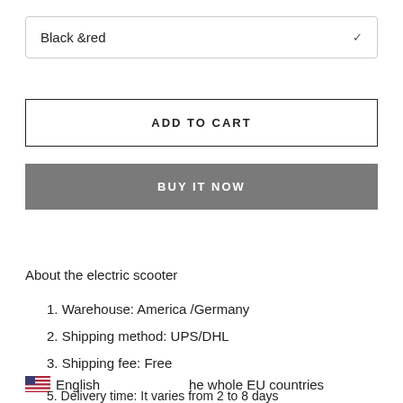Black &red
ADD TO CART
BUY IT NOW
About the electric scooter
1. Warehouse: America /Germany
2. Shipping method: UPS/DHL
3. Shipping fee: Free
he whole EU countries
English
5. Delivery time: It varies from 2 to 8 days